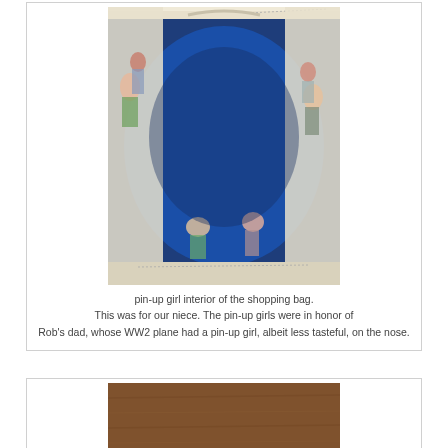[Figure (photo): Interior of a shopping bag viewed from above, showing a blue lining fabric with pin-up girl illustrations printed on the outer fabric edges. The bag is photographed on what appears to be a wooden surface.]
pin-up girl interior of the shopping bag. This was for our niece. The pin-up girls were in honor of Rob's dad, whose WW2 plane had a pin-up girl, albeit less tasteful, on the nose.
[Figure (photo): Partial view of a wooden surface or wooden item, brown toned wood grain visible.]